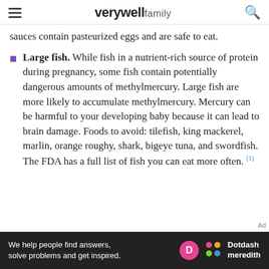verywell family
sauces contain pasteurized eggs and are safe to eat.
Large fish. While fish in a nutrient-rich source of protein during pregnancy, some fish contain potentially dangerous amounts of methylmercury. Large fish are more likely to accumulate methylmercury. Mercury can be harmful to your developing baby because it can lead to brain damage. Foods to avoid: tilefish, king mackerel, marlin, orange roughy, shark, bigeye tuna, and swordfish. The FDA has a full list of fish you can eat more often. [1]
[Figure (screenshot): Advertisement banner: 'We help people find answers, solve problems and get inspired.' with Dotdash Meredith logo]